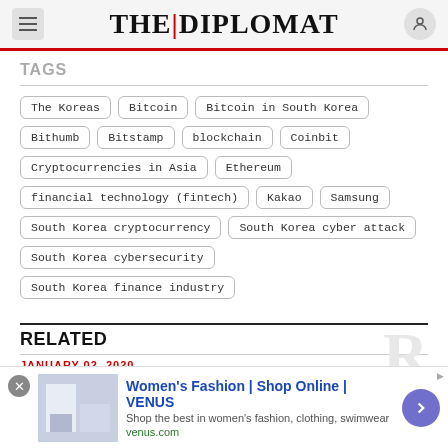THE DIPLOMAT
TAGS
The Koreas
Bitcoin
Bitcoin in South Korea
Bithumb
Bitstamp
blockchain
Coinbit
Cryptocurrencies in Asia
Ethereum
financial technology (fintech)
Kakao
Samsung
South Korea cryptocurrency
South Korea cyber attack
South Korea cybersecurity
South Korea finance industry
RELATED
JANUARY 02, 2020